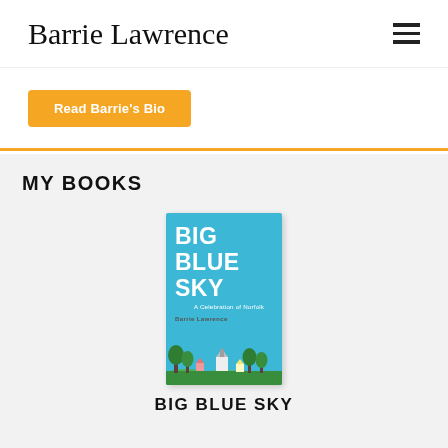Barrie Lawrence
Read Barrie's Bio
MY BOOKS
[Figure (illustration): Book cover for 'Big Blue Sky: A Celebration of Norfolk' by Barrie Lawrence. Light blue background with large white bold text 'BIG BLUE SKY', subtitle 'A Celebration of Norfolk', author name 'Barrie Lawrence', and illustrated countryside scene at bottom with trees, fields, and a church.]
BIG BLUE SKY